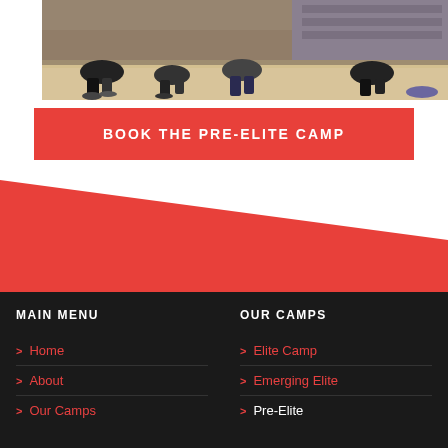[Figure (photo): Athletes in a gymnasium doing warm-up drills on the court floor, with bleachers visible in the background]
BOOK THE PRE-ELITE CAMP
[Figure (illustration): Red diagonal banner/shape filling the lower portion of the white section, transitioning into the dark footer]
MAIN MENU
OUR CAMPS
Home
About
Our Camps
Elite Camp
Emerging Elite
Pre-Elite